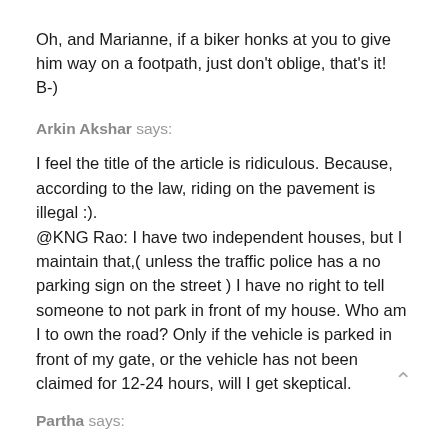Oh, and Marianne, if a biker honks at you to give him way on a footpath, just don't oblige, that's it! B-)
Arkin Akshar says:
I feel the title of the article is ridiculous. Because, according to the law, riding on the pavement is illegal :).
@KNG Rao: I have two independent houses, but I maintain that,( unless the traffic police has a no parking sign on the street ) I have no right to tell someone to not park in front of my house. Who am I to own the road? Only if the vehicle is parked in front of my gate, or the vehicle has not been claimed for 12-24 hours, will I get skeptical.
Partha says: